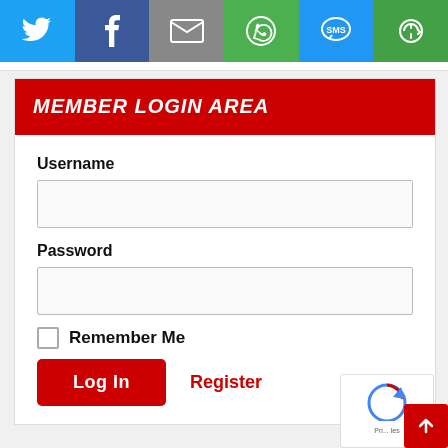[Figure (screenshot): Social sharing bar with icons: Twitter (blue), Facebook (dark blue), Email (gray), WhatsApp (green), SMS (blue), and a rotate/sync icon (green)]
MEMBER LOGIN AREA
Username
Password
Remember Me
Log In
Register